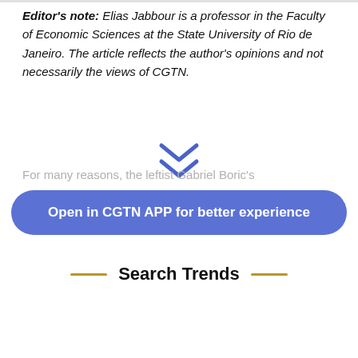Editor's note: Elias Jabbour is a professor in the Faculty of Economic Sciences at the State University of Rio de Janeiro. The article reflects the author's opinions and not necessarily the views of CGTN.
For many reasons, the leftist Gabriel Boric's
Open in CGTN APP for better experience
Search Trends